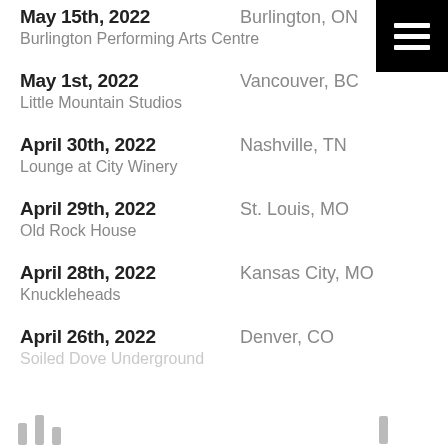May 15th, 2022 | Burlington, ON | Burlington Performing Arts Centre
May 1st, 2022 | Vancouver, BC | Little Mountain Studios
April 30th, 2022 | Nashville, TN | Lounge at City Winery
April 29th, 2022 | St. Louis, MO | Old Rock House
April 28th, 2022 | Kansas City, MO | Knuckleheads
April 26th, 2022 | Denver, CO | Soiled Dove Underground